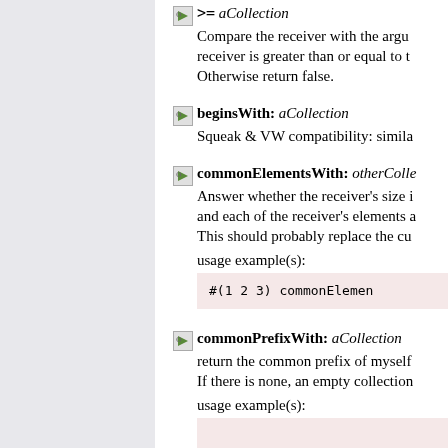>= aCollection — Compare the receiver with the argument. Return true if the receiver is greater than or equal to the argument. Otherwise return false.
beginsWith: aCollection — Squeak & VW compatibility: simila...
commonElementsWith: otherCollection — Answer whether the receiver's size is the same as the argument's size and each of the receiver's elements are equal to the corresponding elements. This should probably replace the current =.
usage example(s):
#(1 2 3) commonElemen...
commonPrefixWith: aCollection — return the common prefix of myself and the argument. If there is none, an empty collection is returned.
usage example(s):